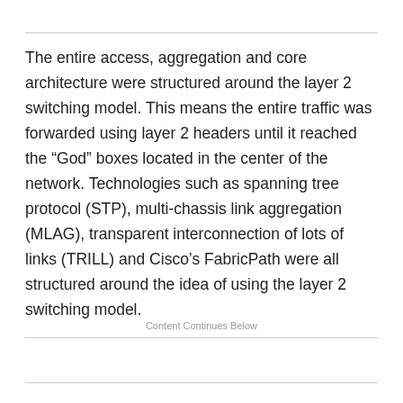The entire access, aggregation and core architecture were structured around the layer 2 switching model. This means the entire traffic was forwarded using layer 2 headers until it reached the “God” boxes located in the center of the network. Technologies such as spanning tree protocol (STP), multi-chassis link aggregation (MLAG), transparent interconnection of lots of links (TRILL) and Cisco’s FabricPath were all structured around the idea of using the layer 2 switching model.
Content Continues Below